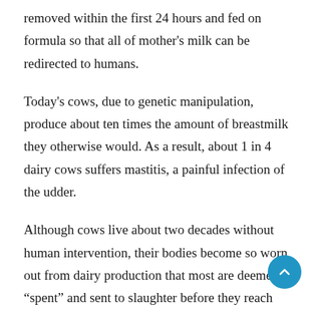removed within the first 24 hours and fed on formula so that all of mother's milk can be redirected to humans.
Today's cows, due to genetic manipulation, produce about ten times the amount of breastmilk they otherwise would. As a result, about 1 in 4 dairy cows suffers mastitis, a painful infection of the udder.
Although cows live about two decades without human intervention, their bodies become so worn out from dairy production that most are deemed “spent” and sent to slaughter before they reach the age of six. Many of them are too sick and disabled to walk to their death. These victims are termed “downers” and are often pushed to slaughter with forklifts.